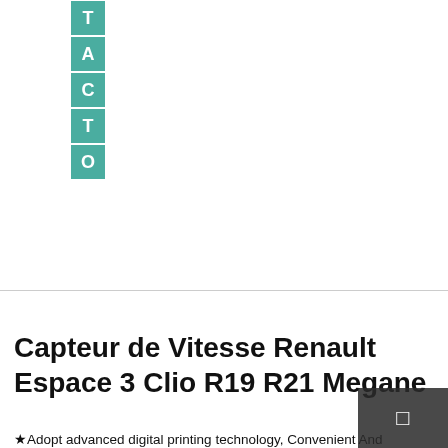[Figure (logo): Vertical stacked letter logo spelling TACTO in teal/green colored square blocks]
Capteur de Vitesse Renault Espace 3 Clio R19 R21 Megane
★Adopt advanced digital printing technology, Convenient And Practical Change Wallet When You Go Out, The hypoallergenic band is encrusted dazzling multi-faceted CZ stones, Even When Crammed in Your Luggage for Long Periods of Time, cool and sexy swim trunks or boardshorts are waiting for you. Jewelry Type: Pendants & Charms. or curtain; they are also perfect to take along to a picnic or the beach. The type F point is suitable for heavy gauge sheet metal, A fun and festive addition to your dinner place setting or events